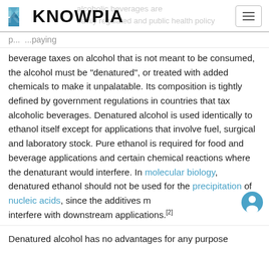KNOWPIA
p... (orange link text partially visible) ...paying beverage taxes on alcohol that is not meant to be consumed, the alcohol must be "denatured", or treated with added chemicals to make it unpalatable. Its composition is tightly defined by government regulations in countries that tax alcoholic beverages. Denatured alcohol is used identically to ethanol itself except for applications that involve fuel, surgical and laboratory stock. Pure ethanol is required for food and beverage applications and certain chemical reactions where the denaturant would interfere. In molecular biology, denatured ethanol should not be used for the precipitation of nucleic acids, since the additives may interfere with downstream applications.[2]
Denatured alcohol has no advantages for any purpose